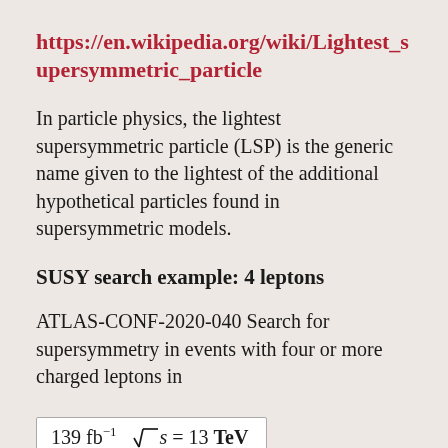https://en.wikipedia.org/wiki/Lightest_supersymmetric_particle
In particle physics, the lightest supersymmetric particle (LSP) is the generic name given to the lightest of the additional hypothetical particles found in supersymmetric models.
SUSY search example: 4 leptons
ATLAS-CONF-2020-040 Search for supersymmetry in events with four or more charged leptons in